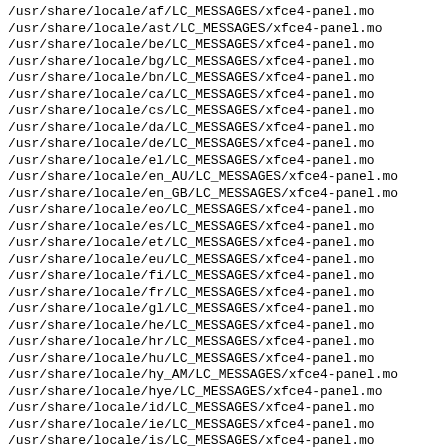/usr/share/locale/af/LC_MESSAGES/xfce4-panel.mo
/usr/share/locale/ast/LC_MESSAGES/xfce4-panel.mo
/usr/share/locale/be/LC_MESSAGES/xfce4-panel.mo
/usr/share/locale/bg/LC_MESSAGES/xfce4-panel.mo
/usr/share/locale/bn/LC_MESSAGES/xfce4-panel.mo
/usr/share/locale/ca/LC_MESSAGES/xfce4-panel.mo
/usr/share/locale/cs/LC_MESSAGES/xfce4-panel.mo
/usr/share/locale/da/LC_MESSAGES/xfce4-panel.mo
/usr/share/locale/de/LC_MESSAGES/xfce4-panel.mo
/usr/share/locale/el/LC_MESSAGES/xfce4-panel.mo
/usr/share/locale/en_AU/LC_MESSAGES/xfce4-panel.mo
/usr/share/locale/en_GB/LC_MESSAGES/xfce4-panel.mo
/usr/share/locale/eo/LC_MESSAGES/xfce4-panel.mo
/usr/share/locale/es/LC_MESSAGES/xfce4-panel.mo
/usr/share/locale/et/LC_MESSAGES/xfce4-panel.mo
/usr/share/locale/eu/LC_MESSAGES/xfce4-panel.mo
/usr/share/locale/fi/LC_MESSAGES/xfce4-panel.mo
/usr/share/locale/fr/LC_MESSAGES/xfce4-panel.mo
/usr/share/locale/gl/LC_MESSAGES/xfce4-panel.mo
/usr/share/locale/he/LC_MESSAGES/xfce4-panel.mo
/usr/share/locale/hr/LC_MESSAGES/xfce4-panel.mo
/usr/share/locale/hu/LC_MESSAGES/xfce4-panel.mo
/usr/share/locale/hy_AM/LC_MESSAGES/xfce4-panel.mo
/usr/share/locale/hye/LC_MESSAGES/xfce4-panel.mo
/usr/share/locale/id/LC_MESSAGES/xfce4-panel.mo
/usr/share/locale/ie/LC_MESSAGES/xfce4-panel.mo
/usr/share/locale/is/LC_MESSAGES/xfce4-panel.mo
/usr/share/locale/it/LC_MESSAGES/xfce4-panel.mo
/usr/share/locale/ja/LC_MESSAGES/xfce4-panel.mo
/usr/share/locale/ka/LC_MESSAGES/xfce4-panel.mo
/usr/share/locale/kk/LC_MESSAGES/xfce4-panel.mo